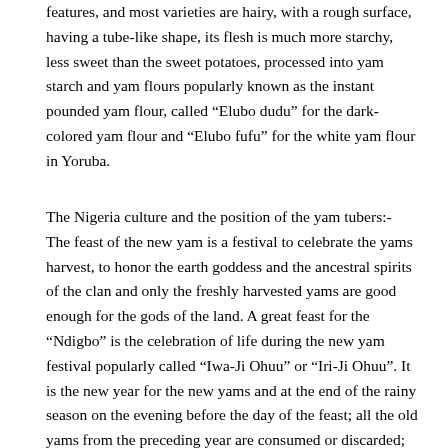features, and most varieties are hairy, with a rough surface, having a tube-like shape, its flesh is much more starchy, less sweet than the sweet potatoes, processed into yam starch and yam flours popularly known as the instant pounded yam flour, called “Elubo dudu” for the dark-colored yam flour and “Elubo fufu” for the white yam flour in Yoruba.
The Nigeria culture and the position of the yam tubers:- The feast of the new yam is a festival to celebrate the yams harvest, to honor the earth goddess and the ancestral spirits of the clan and only the freshly harvested yams are good enough for the gods of the land. A great feast for the “Ndigbo” is the celebration of life during the new yam festival popularly called “Iwa-Ji Ohuu” or “Iri-Ji Ohuu”. It is the new year for the new yams and at the end of the rainy season on the evening before the day of the feast; all the old yams from the preceding year are consumed or discarded; withholding a cultural belief that the new year must start with the new yams, during which the new yams are offered to the gods and ancestors first to seek